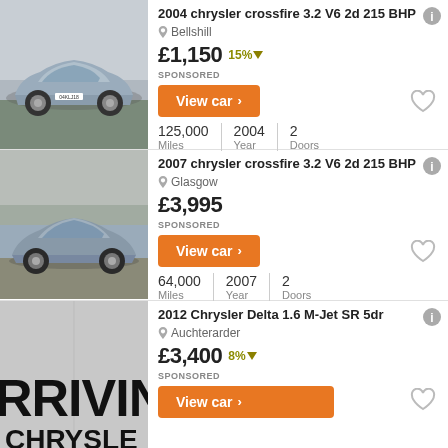[Figure (photo): Silver Chrysler Crossfire coupe parked on a road]
2004 chrysler crossfire 3.2 V6 2d 215 BHP
Bellshill
£1,150 15%
SPONSORED
View car >
125,000 Miles | 2004 Year | 2 Doors
[Figure (photo): Grey Chrysler Crossfire coupe on a road with trees in background]
2007 chrysler crossfire 3.2 V6 2d 215 BHP
Glasgow
£3,995
SPONSORED
View car >
64,000 Miles | 2007 Year | 2 Doors
[Figure (photo): Dealer showroom sign reading ARRIVING with large text]
2012 Chrysler Delta 1.6 M-Jet SR 5dr
Auchterarder
£3,400 8%
SPONSORED
View car >